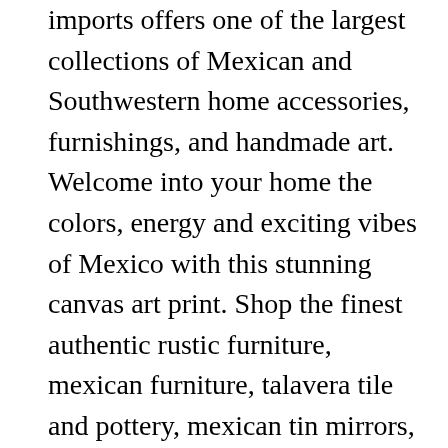imports offers one of the largest collections of Mexican and Southwestern home accessories, furnishings, and handmade art. Welcome into your home the colors, energy and exciting vibes of Mexico with this stunning canvas art print. Shop the finest authentic rustic furniture, mexican furniture, talavera tile and pottery, mexican tin mirrors, and more. Each museum-quality mexican style framed print may be customized with hundreds of different frame and mat options. Browse our selection of Mexican Framed Art Prints and find the perfect design for you—created by our community of independent artists. Browse our curated collections! $49.99. Up to 40% off Mugs, Tote Bags, Tees,